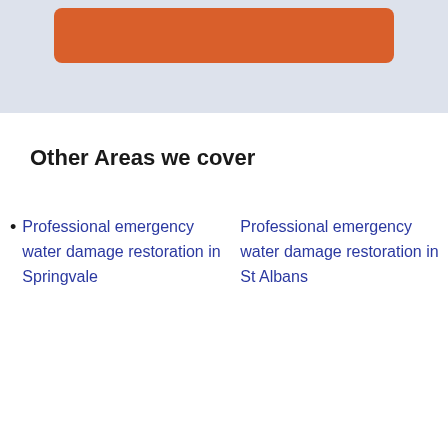[Figure (other): Top banner with light blue-grey background containing a partially visible orange rounded button/bar at the top]
Other Areas we cover
Professional emergency water damage restoration in Springvale
Professional emergency water damage restoration in St Albans